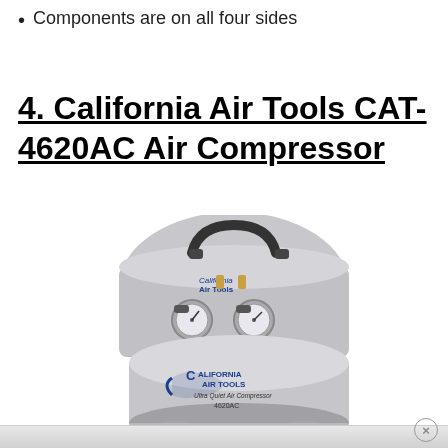Components are on all four sides
4. California Air Tools CAT-4620AC Air Compressor
[Figure (photo): California Air Tools CAT-4620AC Ultra Quiet Air Compressor, silver cylindrical tank with dual gauges and handle, labeled 'California Air Tools Ultra Quiet Air Compressor 4620AC']